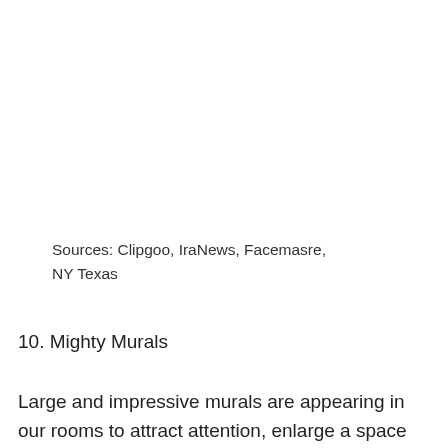Sources: Clipgoo, IraNews, Facemasre, NY Texas
10. Mighty Murals
Large and impressive murals are appearing in our rooms to attract attention, enlarge a space and renew our walls with one dramatic statement. Beware of empty, bare walls. I hope that doesn't